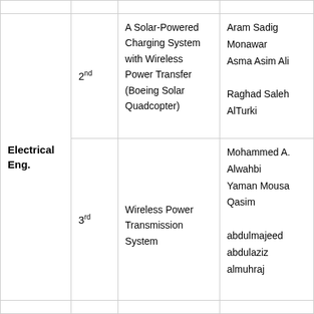| Department | Rank | Project | Team Members |
| --- | --- | --- | --- |
| Electrical Eng. | 2nd | A Solar-Powered Charging System with Wireless Power Transfer (Boeing Solar Quadcopter) | Aram Sadig Monawar
Asma Asim Ali
Raghad Saleh AlTurki |
|  | 3rd | Wireless Power Transmission System | Mohammed A. Alwahbi
Yaman Mousa Qasim
abdulmajeed abdulaziz almuhraj |